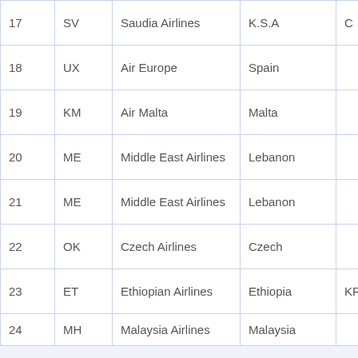| # | Code | Airline | Country | Other |
| --- | --- | --- | --- | --- |
| 17 | SV | Saudia Airlines | K.S.A | C |
| 18 | UX | Air Europe | Spain |  |
| 19 | KM | Air Malta | Malta |  |
| 20 | ME | Middle East Airlines | Lebanon |  |
| 21 | ME | Middle East Airlines | Lebanon |  |
| 22 | OK | Czech Airlines | Czech |  |
| 23 | ET | Ethiopian Airlines | Ethiopia | KP |
| 24 | MH | Malaysia Airlines | Malaysia |  |